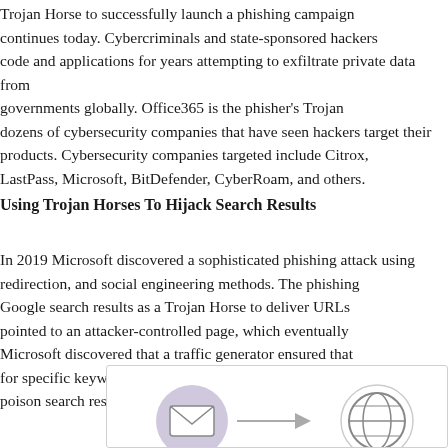Trojan Horse to successfully launch a phishing campaign continues today. Cybercriminals and state-sponsored hackers code and applications for years attempting to exfiltrate private data from governments globally. Office365 is the phisher's Trojan Horse with dozens of cybersecurity companies that have seen hackers target their products. Cybersecurity companies targeted include Citrix, LastPass, Microsoft, BitDefender, CyberRoam, and others.
Using Trojan Horses To Hijack Search Results
In 2019 Microsoft discovered a sophisticated phishing attack using redirection, and social engineering methods. The phishing used Google search results as a Trojan Horse to deliver URLs pointed to an attacker-controlled page, which eventually Microsoft discovered that a traffic generator ensured that for specific keywords. The following graphic explains how to poison search results:
[Figure (infographic): Diagram showing how Trojan Horse attack poisons search results, partially visible at bottom of page with icons including an envelope/email icon and a globe/internet icon.]